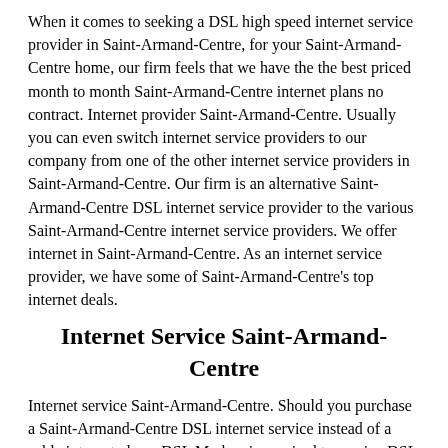When it comes to seeking a DSL high speed internet service provider in Saint-Armand-Centre, for your Saint-Armand-Centre home, our firm feels that we have the the best priced month to month Saint-Armand-Centre internet plans no contract. Internet provider Saint-Armand-Centre. Usually you can even switch internet service providers to our company from one of the other internet service providers in Saint-Armand-Centre. Our firm is an alternative Saint-Armand-Centre DSL internet service provider to the various Saint-Armand-Centre internet service providers. We offer internet in Saint-Armand-Centre. As an internet service provider, we have some of Saint-Armand-Centre's top internet deals.
Internet Service Saint-Armand-Centre
Internet service Saint-Armand-Centre. Should you purchase a Saint-Armand-Centre DSL internet service instead of a cable internet plan a DSL Modem is required to receive DSL internet service in Saint-Armand-Centre. Should you be have a rental modem from Bell you will need to plan a date to return it on. You need to provide an approved modem (or rent or purchase an approved from us and we will send it to you) or it will not function with our Saint-Armand-Centre internet services). If you own your own suitable modem you need to provide us the